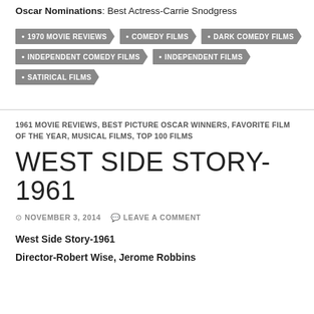Oscar Nominations: Best Actress-Carrie Snodgress
1970 MOVIE REVIEWS
COMEDY FILMS
DARK COMEDY FILMS
INDEPENDENT COMEDY FILMS
INDEPENDENT FILMS
SATIRICAL FILMS
1961 MOVIE REVIEWS, BEST PICTURE OSCAR WINNERS, FAVORITE FILM OF THE YEAR, MUSICAL FILMS, TOP 100 FILMS
WEST SIDE STORY-1961
NOVEMBER 3, 2014   LEAVE A COMMENT
West Side Story-1961
Director-Robert Wise, Jerome Robbins